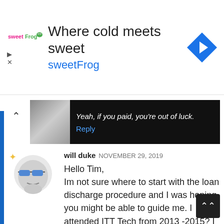[Figure (screenshot): sweetFrog advertisement banner with logo, 'Where cold meets sweet' heading, and navigation arrow icon]
Yeah, if you paid, you're out of luck.
Reply
will duke NOVEMBER 29, 2019
Hello Tim,
Im not sure where to start with the loan discharge procedure and I was hoping you might be able to guide me. I attended ITT Tech from 2013 -2015? I was told that I would be placed in a job by the school this never happened. I have a federal loan that was to be a total of $19,000 I never received a diploma. I am being billed for over $26,000. I am not sure which direction